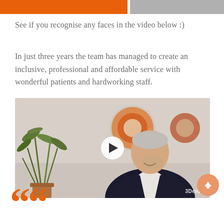See if you recognise any faces in the video below :)
In just three years the team has managed to create an inclusive, professional and affordable service with wonderful patients and hardworking staff.
[Figure (photo): Video thumbnail showing a man with grey hair wearing a dark blazer, seated in front of a plant and circular wall art. A white play button circle is overlaid in the center. A 3Dental watermark appears in the lower right. An orange scroll-to-top arrow button is in the bottom right corner.]
““